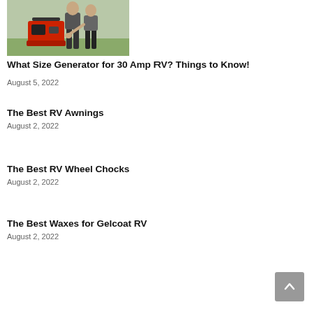[Figure (photo): Two people with a red portable generator outdoors on grass]
What Size Generator for 30 Amp RV? Things to Know!
August 5, 2022
The Best RV Awnings
August 2, 2022
The Best RV Wheel Chocks
August 2, 2022
The Best Waxes for Gelcoat RV
August 2, 2022